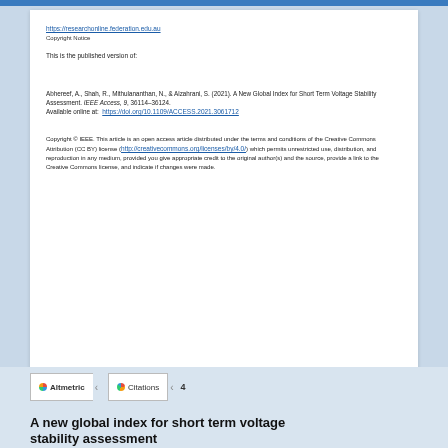https://researchonline.federation.edu.au
Copyright Notice
This is the published version of:
Abhereef, A., Shah, R., Mithulananthan, N., & Alzahrani, S. (2021). A New Global Index for Short Term Voltage Stability Assessment. IEEE Access, 9, 36114–36124.
Available online at:  https://doi.org/10.1109/ACCESS.2021.3061712
Copyright © IEEE. This article is an open access article distributed under the terms and conditions of the Creative Commons Attribution (CC BY) license (http://creativecommons.org/licenses/by/4.0/) which permits unrestricted use, distribution, and reproduction in any medium, provided you give appropriate credit to the original author(s) and the source, provide a link to the Creative Commons license, and indicate if changes were made.
Altmetric    Citations    4
A new global index for short term voltage stability assessment